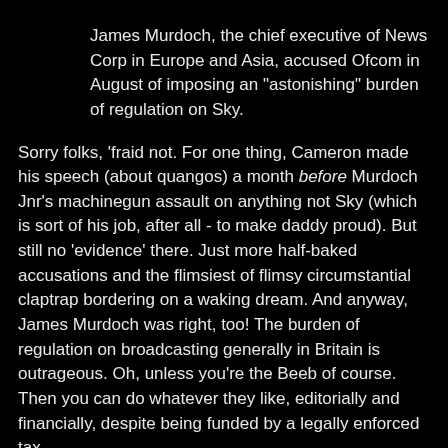James Murdoch, the chief executive of News Corp in Europe and Asia, accused Ofcom in August of imposing an "astonishing" burden of regulation on Sky.
Sorry folks, 'fraid not. For one thing, Cameron made his speech (about quangos) a month before Murdoch Jnr's machinegun assault on anything not Sky (which is sort of his job, after all - to make daddy proud). But still no 'evidence' there. Just more half-baked accusations and the flimsiest of flimsy circumstantial claptrap bordering on a waking dream. And anyway, James Murdoch was right, too! The burden of regulation on broadcasting generally in Britain is outrageous. Oh, unless you're the Beeb of course. Then you can do whatever they like, editorially and financially, despite being funded by a legally enforced tax.
In the end, of course, this is all about Mandelson who, ably served by his tame Guardian journalist, is pushing his ultra-partisan 'Digital Britain' bill, which is actually designed to do just one thing, and its not to secure Britain's digital future